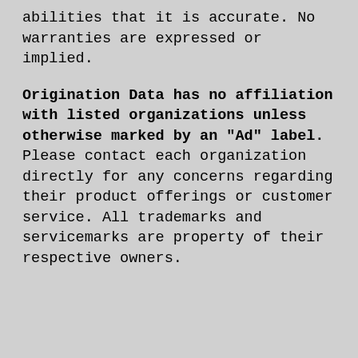abilities that it is accurate. No warranties are expressed or implied.
Origination Data has no affiliation with listed organizations unless otherwise marked by an "Ad" label. Please contact each organization directly for any concerns regarding their product offerings or customer service. All trademarks and servicemarks are property of their respective owners.